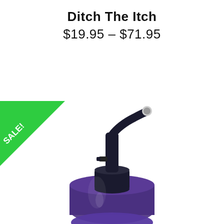Ditch The Itch
$19.95 – $71.95
[Figure (photo): A dark purple/blue spray bottle with black pump sprayer top, showing the upper portion of the bottle including the spray nozzle and pump mechanism. A green 'SALE!' triangle badge is positioned in the upper-left corner of the image area.]